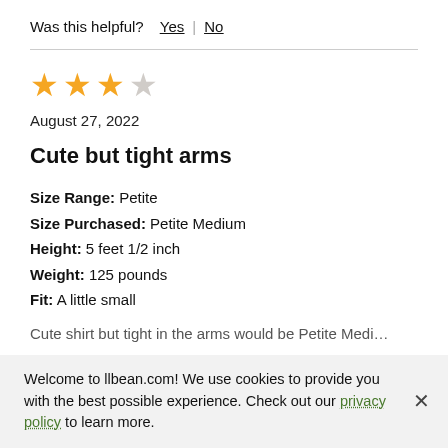Was this helpful? Yes | No
[Figure (other): Star rating: 3.5 out of 5 stars (4 filled, 1 empty shown as 3 filled gold stars and 1 empty star)]
August 27, 2022
Cute but tight arms
Size Range: Petite
Size Purchased: Petite Medium
Height: 5 feet 1/2 inch
Weight: 125 pounds
Fit: A little small
Cute shirt but tight in the arms would be Petite Medi...
Welcome to llbean.com! We use cookies to provide you with the best possible experience. Check out our privacy policy to learn more.